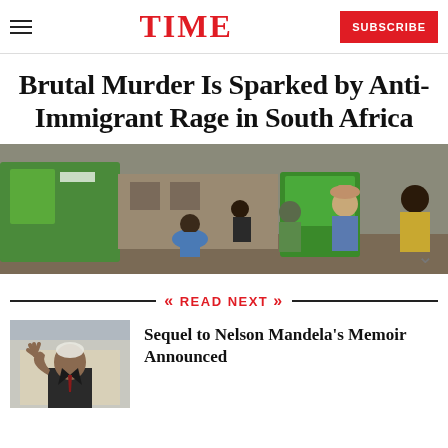TIME — SUBSCRIBE
Brutal Murder Is Sparked by Anti-Immigrant Rage in South Africa
[Figure (photo): Street scene in South Africa showing group of people near green portable toilets and a building]
READ NEXT
[Figure (photo): Nelson Mandela waving in a suit]
Sequel to Nelson Mandela's Memoir Announced